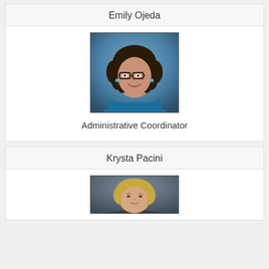Emily Ojeda
[Figure (photo): Professional headshot of Emily Ojeda, a woman with curly dark hair and glasses wearing a blue top]
Administrative Coordinator
Krysta Pacini
[Figure (photo): Partial professional headshot of Krysta Pacini, a woman with blonde hair]